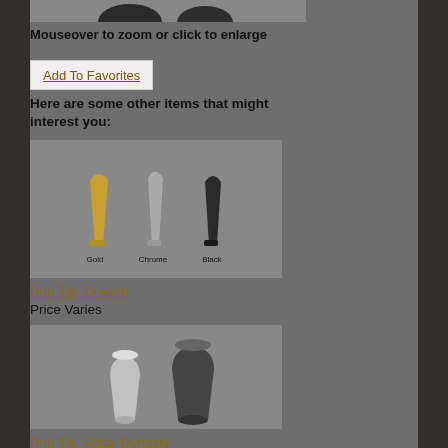[Figure (photo): Top partial image showing dark product items on grey background]
Mouseover to zoom or click to enlarge
Add To Favorites
Here are some other items that might interest you:
[Figure (photo): Three dragon drip tips in Gold, Chrome, and Black colorways]
Drip Tip, Dragon
Price Varies
[Figure (photo): Two metal dynasty drip tips in silver and dark metallic finish]
Drip Tip, Metal Dynasty
Price Varies
[Figure (photo): Partial view of another drip tip product at the bottom of the page]